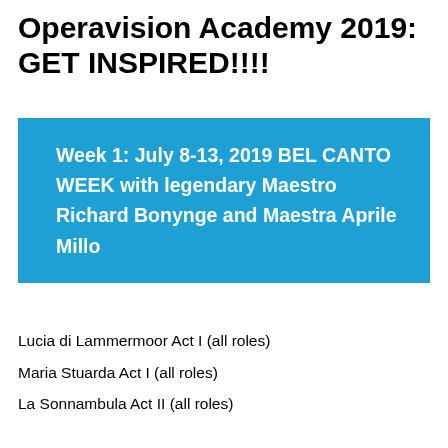Operavision Academy 2019: GET INSPIRED!!!!
Week 1: July 8-13, 2019 BEL CANTO WEEK with legendary Maestro Richard Bonynge and Maestra Aprile Millo
Lucia di Lammermoor Act I (all roles)
Maria Stuarda Act I (all roles)
La Sonnambula Act II (all roles)